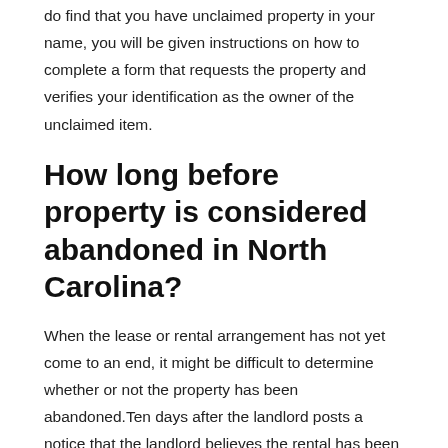do find that you have unclaimed property in your name, you will be given instructions on how to complete a form that requests the property and verifies your identification as the owner of the unclaimed item.
How long before property is considered abandoned in North Carolina?
When the lease or rental arrangement has not yet come to an end, it might be difficult to determine whether or not the property has been abandoned. Ten days after the landlord posts a notice that the landlord believes the rental has been abandoned in a conspicuous place both inside and outside the rental, and the landlord has received no response from the tenant, or ten days after the landlord chooses to evict the tenant because the landlord believes the rental has been abandoned.